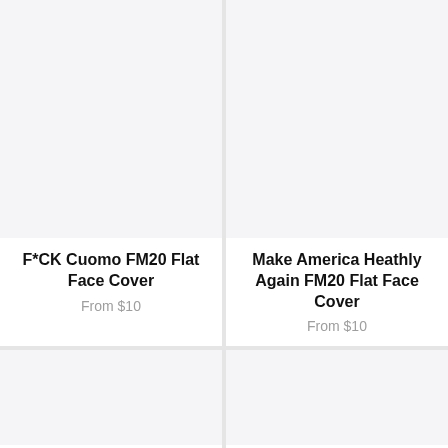[Figure (photo): Product image placeholder – light gray rectangle for F*CK Cuomo FM20 Flat Face Cover]
F*CK Cuomo FM20 Flat Face Cover
From $10
[Figure (photo): Product image placeholder – light gray rectangle for Make America Heathly Again FM20 Flat Face Cover]
Make America Heathly Again FM20 Flat Face Cover
From $10
[Figure (photo): Product image placeholder – light gray rectangle, bottom left card, partially visible]
[Figure (photo): Product image placeholder – light gray rectangle, bottom right card, partially visible]